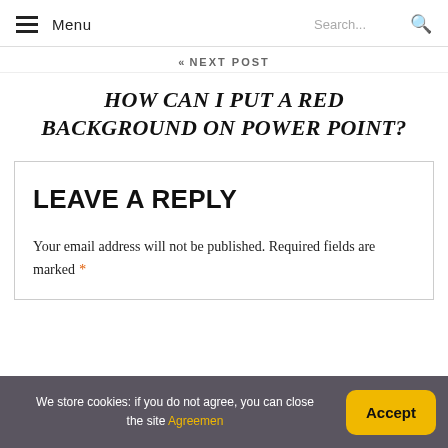Menu | Search...
« NEXT POST
HOW CAN I PUT A RED BACKGROUND ON POWER POINT?
LEAVE A REPLY
Your email address will not be published. Required fields are marked *
We store cookies: if you do not agree, you can close the site Agreemen  Accept